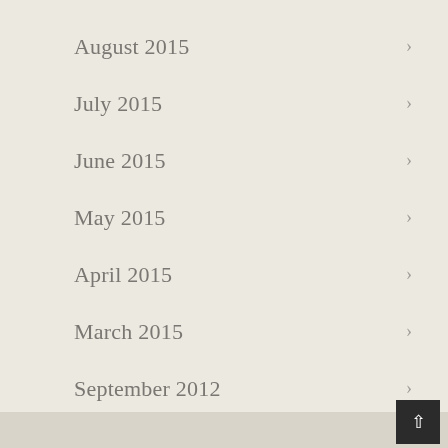August 2015
July 2015
June 2015
May 2015
April 2015
March 2015
September 2012